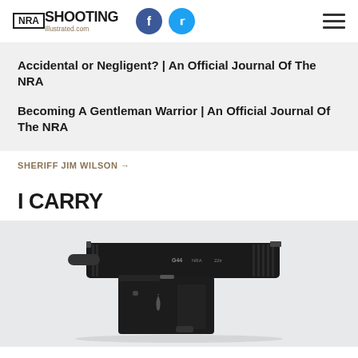NRA SHOOTING Illustrated.com
Accidental or Negligent? | An Official Journal Of The NRA
Becoming A Gentleman Warrior | An Official Journal Of The NRA
SHERIFF JIM WILSON →
I CARRY
[Figure (photo): Photo of a Glock semi-automatic pistol (black) shown in profile on a light gray background]